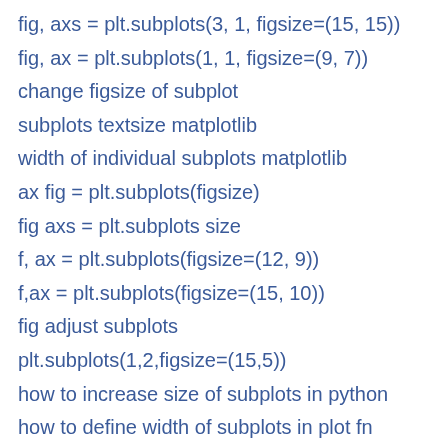fig, axs = plt.subplots(3, 1, figsize=(15, 15))
fig, ax = plt.subplots(1, 1, figsize=(9, 7))
change figsize of subplot
subplots textsize matplotlib
width of individual subplots matplotlib
ax fig = plt.subplots(figsize)
fig axs = plt.subplots size
f, ax = plt.subplots(figsize=(12, 9))
f,ax = plt.subplots(figsize=(15, 10))
fig adjust subplots
plt.subplots(1,2,figsize=(15,5))
how to increase size of subplots in python
how to define width of subplots in plot fn
how to get size of a subplot matplotlib